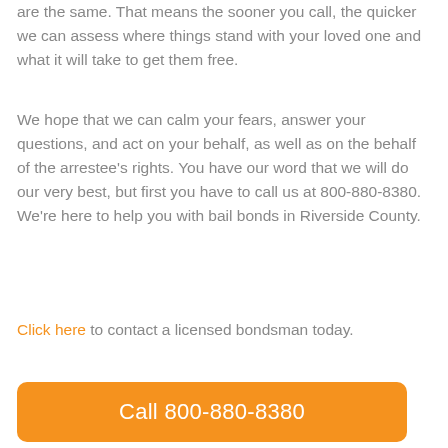are the same. That means the sooner you call, the quicker we can assess where things stand with your loved one and what it will take to get them free.
We hope that we can calm your fears, answer your questions, and act on your behalf, as well as on the behalf of the arrestee's rights. You have our word that we will do our very best, but first you have to call us at 800-880-8380. We're here to help you with bail bonds in Riverside County.
Click here to contact a licensed bondsman today.
[Figure (other): Orange rounded rectangle button with white text reading 'Call 800-880-8380']